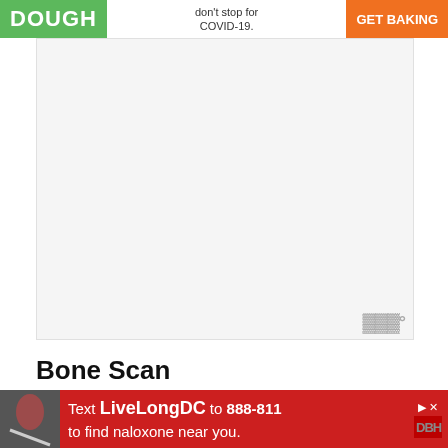[Figure (other): Top advertisement banner with green DOUGH logo, text about COVID-19, and orange GET BAKING button]
[Figure (other): Large empty advertisement placeholder box with light gray background and weather watermark]
Bone Scan
A Bone Scan helps find the area of the spine that is not normal. To do a bone scan, a radioactive chemical is injected into the bloodstream. This radioactive chemical attaches itself to bones that are undergoing rapid changes. The areas of the skeleton that are undergoing rapid changes appear as
[Figure (other): Bottom advertisement banner: Text LiveLongDC to 888-811 to find naloxone near you. Red background with DBH logo.]